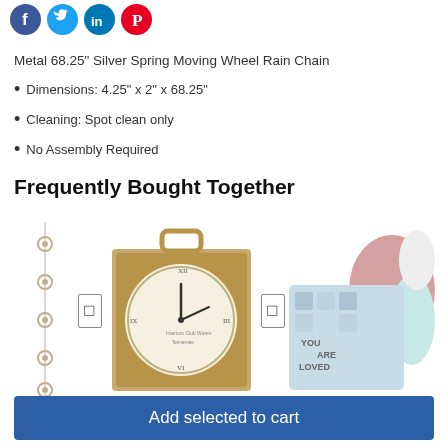[Figure (other): Social media share icons: Facebook (blue circle with f), Twitter (light blue circle with bird), LinkedIn (blue circle with in), Pinterest (red circle with P)]
Metal 68.25" Silver Spring Moving Wheel Rain Chain
Dimensions: 4.25" x 2" x 68.25"
Cleaning: Spot clean only
No Assembly Required
Frequently Bought Together
[Figure (photo): Three product images side by side: a metal rain chain with linked wheel pieces, a square wooden mantel clock with round white face and Roman numerals, and a decorative throw pillow with floral/text design in blue and pink next to fluffy pink pillows. Navigation arrows between products.]
Total price: $263.85  $250.85
Add selected to cart